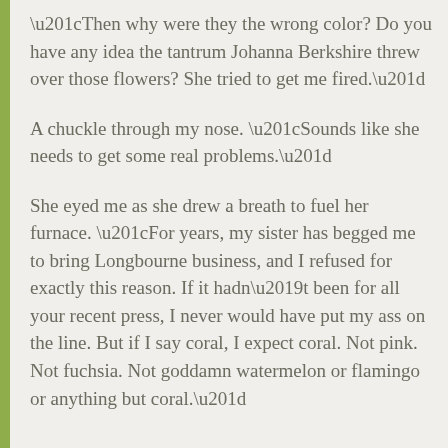“Then why were they the wrong color? Do you have any idea the tantrum Johanna Berkshire threw over those flowers? She tried to get me fired.”
A chuckle through my nose. “Sounds like she needs to get some real problems.”
She eyed me as she drew a breath to fuel her furnace. “For years, my sister has begged me to bring Longbourne business, and I refused for exactly this reason. If it hadn’t been for all your recent press, I never would have put my ass on the line. But if I say coral, I expect coral. Not pink. Not fuchsia. Not goddamn watermelon or flamingo or anything but coral.”